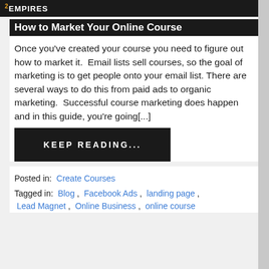EMPIRES
How to Market Your Online Course
Once you've created your course you need to figure out how to market it.  Email lists sell courses, so the goal of marketing is to get people onto your email list. There are several ways to do this from paid ads to organic marketing.  Successful course marketing does happen and in this guide, you're going[...]
KEEP READING...
Posted in:  Create Courses
Tagged in:  Blog ,  Facebook Ads ,  landing page ,  Lead Magnet ,  Online Business ,  online course